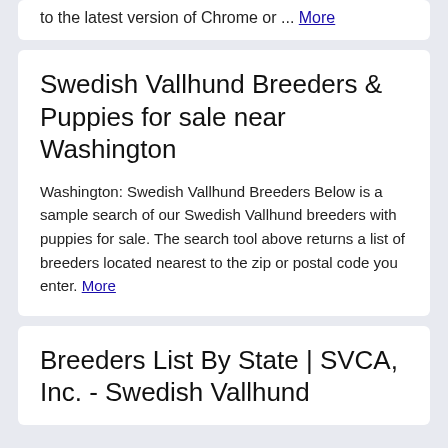to the latest version of Chrome or ... More
Swedish Vallhund Breeders & Puppies for sale near Washington
Washington: Swedish Vallhund Breeders Below is a sample search of our Swedish Vallhund breeders with puppies for sale. The search tool above returns a list of breeders located nearest to the zip or postal code you enter. More
Breeders List By State | SVCA, Inc. - Swedish Vallhund